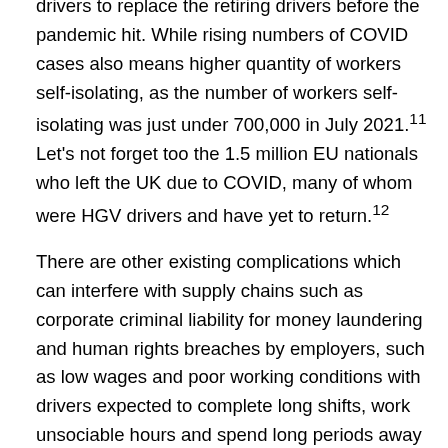drivers to replace the retiring drivers before the pandemic hit. While rising numbers of COVID cases also means higher quantity of workers self-isolating, as the number of workers self-isolating was just under 700,000 in July 2021.11 Let's not forget too the 1.5 million EU nationals who left the UK due to COVID, many of whom were HGV drivers and have yet to return.12
There are other existing complications which can interfere with supply chains such as corporate criminal liability for money laundering and human rights breaches by employers, such as low wages and poor working conditions with drivers expected to complete long shifts, work unsociable hours and spend long periods away from home.13 . Moreover, the imbalance of power between workers and